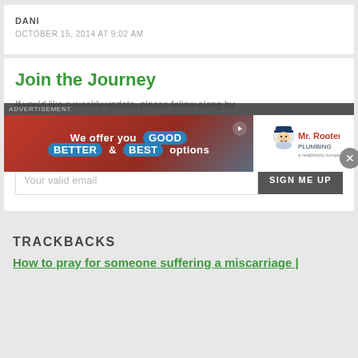DANI
OCTOBER 15, 2014 AT 9:02 AM
Join the Journey
If you'd like a weekly update, please follow along by adding...
[Figure (infographic): Advertisement banner overlay: 'We offer you GOOD BETTER & BEST options' with Mr. Rooter Plumbing logo on white background. Dark semi-transparent bar at top with 'ADVERTISEMENT' label and close button (X) on right.]
Your valid email
SIGN ME UP
TRACKBACKS
How to pray for someone suffering a miscarriage |